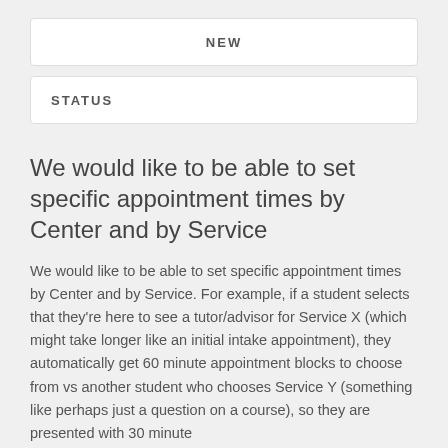NEW
STATUS
We would like to be able to set specific appointment times by Center and by Service
We would like to be able to set specific appointment times by Center and by Service. For example, if a student selects that they're here to see a tutor/advisor for Service X (which might take longer like an initial intake appointment), they automatically get 60 minute appointment blocks to choose from vs another student who chooses Service Y (something like perhaps just a question on a course), so they are presented with 30 minute